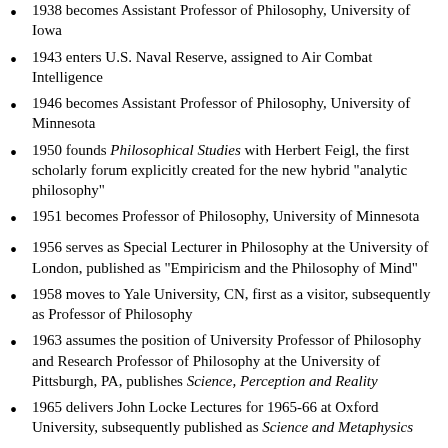1938 becomes Assistant Professor of Philosophy, University of Iowa
1943 enters U.S. Naval Reserve, assigned to Air Combat Intelligence
1946 becomes Assistant Professor of Philosophy, University of Minnesota
1950 founds Philosophical Studies with Herbert Feigl, the first scholarly forum explicitly created for the new hybrid "analytic philosophy"
1951 becomes Professor of Philosophy, University of Minnesota
1956 serves as Special Lecturer in Philosophy at the University of London, published as "Empiricism and the Philosophy of Mind"
1958 moves to Yale University, CN, first as a visitor, subsequently as Professor of Philosophy
1963 assumes the position of University Professor of Philosophy and Research Professor of Philosophy at the University of Pittsburgh, PA, publishes Science, Perception and Reality
1965 delivers John Locke Lectures for 1965-66 at Oxford University, subsequently published as Science and Metaphysics
1970 serves as president of the Eastern Division of the American Philosophical Association
1971 delivers Matchette Foundation Lectures, University of